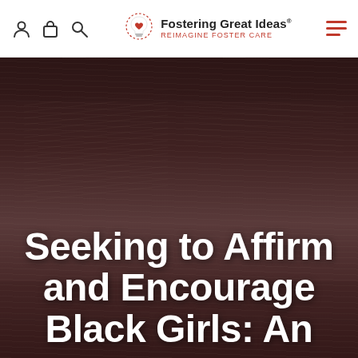Fostering Great Ideas® — Reimagine Foster Care
[Figure (photo): Close-up photograph of an open book with blurred pages, dark warm-toned background with brownish-red overlay]
Seeking to Affirm and Encourage Black Girls: An